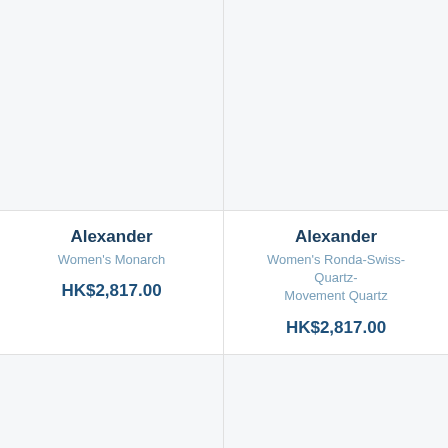[Figure (photo): Product image placeholder box for Alexander Women's Monarch watch, light grey background]
[Figure (photo): Product image placeholder box for Alexander Women's Ronda-Swiss-Quartz-Movement Quartz watch, light grey background]
Alexander
Women's Monarch
HK$2,817.00
Alexander
Women's Ronda-Swiss-Quartz-Movement Quartz
HK$2,817.00
[Figure (photo): Bottom left product image placeholder, light grey background]
[Figure (photo): Bottom right product image placeholder, light grey background]